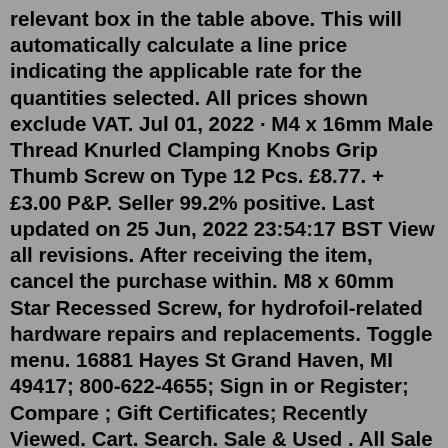relevant box in the table above. This will automatically calculate a line price indicating the applicable rate for the quantities selected. All prices shown exclude VAT. Jul 01, 2022 · M4 x 16mm Male Thread Knurled Clamping Knobs Grip Thumb Screw on Type 12 Pcs. £8.77. + £3.00 P&P. Seller 99.2% positive. Last updated on 25 Jun, 2022 23:54:17 BST View all revisions. After receiving the item, cancel the purchase within. M8 x 60mm Star Recessed Screw, for hydrofoil-related hardware repairs and replacements. Toggle menu. 16881 Hayes St Grand Haven, MI 49417; 800-622-4655; Sign in or Register; Compare ; Gift Certificates; Recently Viewed. Cart. Search. Sale & Used . All Sale & Used; 4th of July Weekend Sale! $20 Super Sale;Buy M8 16-60mm Alloy Clamping Lever Machinery Adjustable Handle Locking External Male Thread Knob Hex Screws at Aliexpress for US $5.47 - 6.91. Find more Home Improvement, Hardware and Fasteners & Hooks products. Enjoy Free Shipping Worldwide! Limited Time Sale Easy Return.